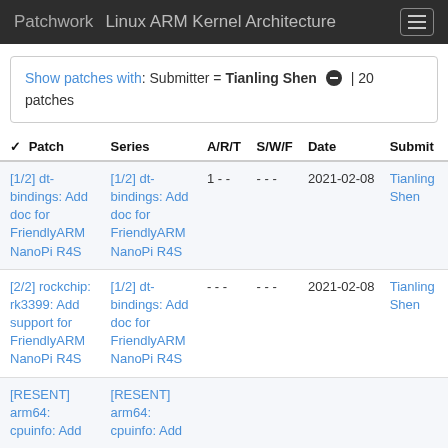Patchwork   Linux ARM Kernel Architecture
Show patches with: Submitter = Tianling Shen  ● | 20 patches
| Patch | Series | A/R/T | S/W/F | Date | Submit |
| --- | --- | --- | --- | --- | --- |
| [1/2] dt-bindings: Add doc for FriendlyARM NanoPi R4S | [1/2] dt-bindings: Add doc for FriendlyARM NanoPi R4S | 1 - - | - - - | 2021-02-08 | Tianling Shen |
| [2/2] rockchip: rk3399: Add support for FriendlyARM NanoPi R4S | [1/2] dt-bindings: Add doc for FriendlyARM NanoPi R4S | - - - | - - - | 2021-02-08 | Tianling Shen |
| [RESENT] arm64: cpuinfo: Add | [RESENT] arm64: cpuinfo: Add |  |  |  |  |